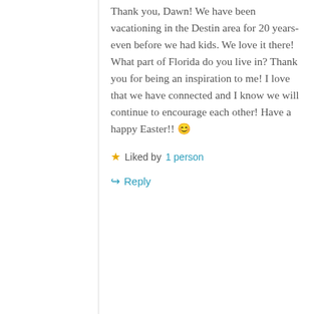Thank you, Dawn! We have been vacationing in the Destin area for 20 years- even before we had kids. We love it there! What part of Florida do you live in? Thank you for being an inspiration to me! I love that we have connected and I know we will continue to encourage each other! Have a happy Easter!! 😊
★ Liked by 1 person
↪ Reply